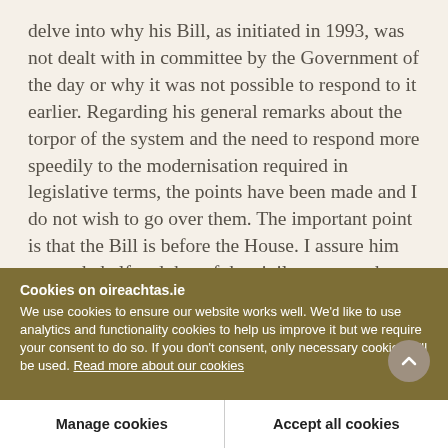delve into why his Bill, as initiated in 1993, was not dealt with in committee by the Government of the day or why it was not possible to respond to it earlier. Regarding his general remarks about the torpor of the system and the need to respond more speedily to the modernisation required in legislative terms, the points have been made and I do not wish to go over them. The important point is that the Bill is before the House. I assure him on my behalf and that of the civil servants who are working and have
Cookies on oireachtas.ie
We use cookies to ensure our website works well. We'd like to use analytics and functionality cookies to help us improve it but we require your consent to do so. If you don't consent, only necessary cookies will be used. Read more about our cookies
Manage cookies
Accept all cookies